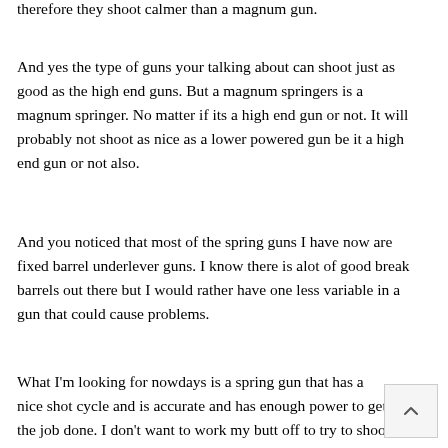therefore they shoot calmer than a magnum gun.
And yes the type of guns your talking about can shoot just as good as the high end guns. But a magnum springers is a magnum springer. No matter if its a high end gun or not. It will probably not shoot as nice as a lower powered gun be it a high end gun or not also.
And you noticed that most of the spring guns I have now are fixed barrel underlever guns. I know there is alot of good break barrels out there but I would rather have one less variable in a gun that could cause problems.
What I'm looking for nowdays is a spring gun that has a nice shot cycle and is accurate and has enough power to get the job done. I don't want to work my butt off to try to shoot a gun everytime I shoot it. I want to enjoy shooting.